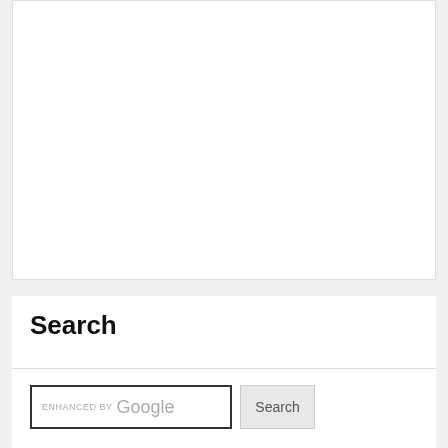Search
[Figure (screenshot): Search widget with an 'ENHANCED BY Google' text input box and a 'Search' button]